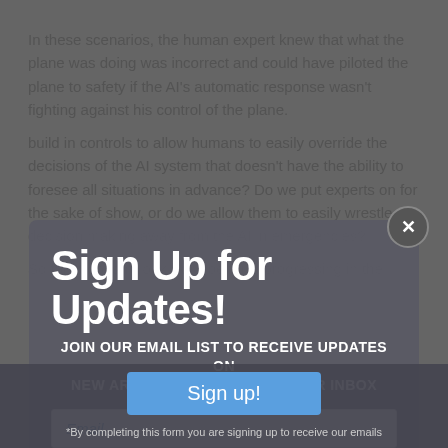In these scenarios, the human expert knew that what the plane was doing was incorrect and could have piloted the plane to safety if the AI's automatic response wasn't fighting against his control of the plane.
build in controls to allow humans to easily override the decisions of the AI system that doesn't have the ability to foresee all situations in advance? Do we put experts on for the sake of show, or do we allow them to easily wrestle decision making away from the AI in emergencies?
So far, it doesn't look like Boeing is progressing in the
Sign Up for Updates!
JOIN OUR EMAIL LIST TO RECEIVE UPDATES ON NEW ARTICLES DIRECTLY IN YOUR INBOX
Email
First Name
Last Name
Subscribe
Sign up!
*By completing this form you are signing up to receive our emails